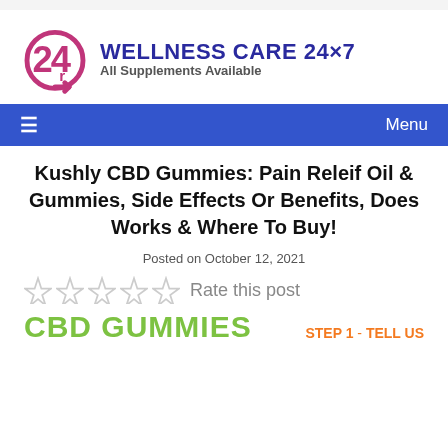[Figure (logo): Wellness Care 24x7 logo with stylized 24r icon in purple/magenta and bold blue text 'WELLNESS CARE 24X7' with tagline 'All Supplements Available']
≡  Menu
Kushly CBD Gummies: Pain Releif Oil & Gummies, Side Effects Or Benefits, Does Works & Where To Buy!
Posted on October 12, 2021
☆☆☆☆☆  Rate this post
CBD GUMMIES  STEP 1 - TELL US